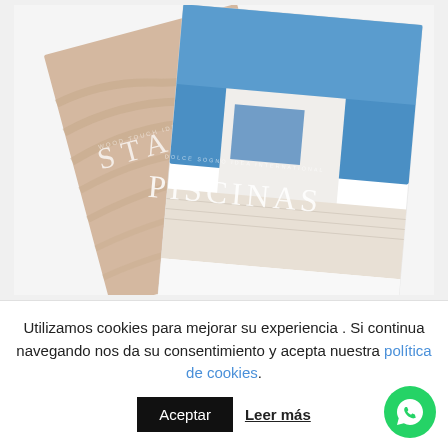[Figure (photo): Two magazine covers displayed at angles: 'STAIRS' featuring wooden spiral stairs, and 'PISCINAS' featuring a modern white architecture with pool under blue sky]
Utilizamos cookies para mejorar su experiencia . Si continua navegando nos da su consentimiento y acepta nuestra política de cookies.
Aceptar
Leer más